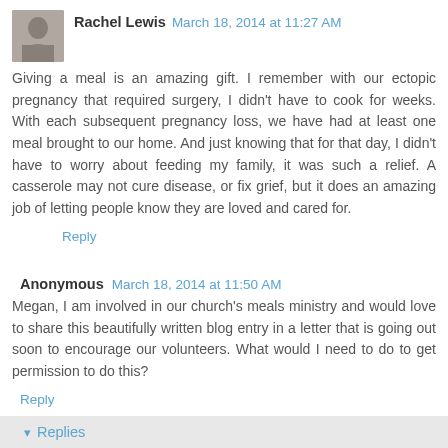Rachel Lewis  March 18, 2014 at 11:27 AM
Giving a meal is an amazing gift. I remember with our ectopic pregnancy that required surgery, I didn't have to cook for weeks. With each subsequent pregnancy loss, we have had at least one meal brought to our home. And just knowing that for that day, I didn't have to worry about feeding my family, it was such a relief. A casserole may not cure disease, or fix grief, but it does an amazing job of letting people know they are loved and cared for.
Reply
Anonymous  March 18, 2014 at 11:50 AM
Megan, I am involved in our church's meals ministry and would love to share this beautifully written blog entry in a letter that is going out soon to encourage our volunteers. What would I need to do to get permission to do this?
Reply
Replies